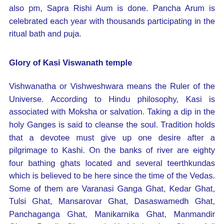also pm, Sapra Rishi Aum is done. Pancha Arum is celebrated each year with thousands participating in the ritual bath and puja.
Glory of Kasi Viswanath temple
Vishwanatha or Vishweshwara means the Ruler of the Universe. According to Hindu philosophy, Kasi is associated with Moksha or salvation. Taking a dip in the holy Ganges is said to cleanse the soul. Tradition holds that a devotee must give up one desire after a pilgrimage to Kashi. On the banks of river are eighty four bathing ghats located and several teerthkundas which is believed to be here since the time of the Vedas. Some of them are Varanasi Ganga Ghat, Kedar Ghat, Tulsi Ghat, Mansarovar Ghat, Dasaswamedh Ghat, Panchaganga Ghat, Manikarnika Ghat, Manmandir Ghat, Dandi Ghat and Harishchandra Ghat. Adi Sankara, Ramakrishna Paramahomsa, Swami Vivekananda, Goswami